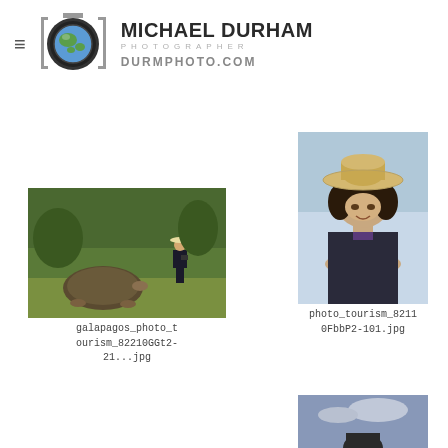MICHAEL DURHAM PHOTOGRAPHER DURMPHOTO.COM
[Figure (photo): Galapagos photo tourism - person photographing giant tortoise in green field]
galapagos_photo_tourism_82210GGt2-21...jpg
[Figure (photo): Photo tourism - woman with wide brim hat looking at camera screen]
photo_tourism_82110FbbP2-101.jpg
[Figure (photo): Partial photo of person outdoors with sky background]